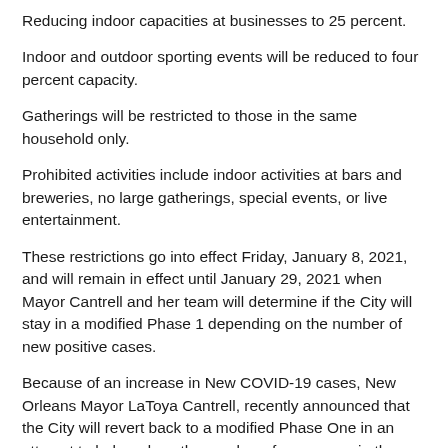Reducing indoor capacities at businesses to 25 percent.
Indoor and outdoor sporting events will be reduced to four percent capacity.
Gatherings will be restricted to those in the same household only.
Prohibited activities include indoor activities at bars and breweries, no large gatherings, special events, or live entertainment.
These restrictions go into effect Friday, January 8, 2021, and will remain in effect until January 29, 2021 when Mayor Cantrell and her team will determine if the City will stay in a modified Phase 1 depending on the number of new positive cases.
Because of an increase in New COVID-19 cases, New Orleans Mayor LaToya Cantrell, recently announced that the City will revert back to a modified Phase One in an attempt to help reduce the number of new cases in the City of New Orleans.